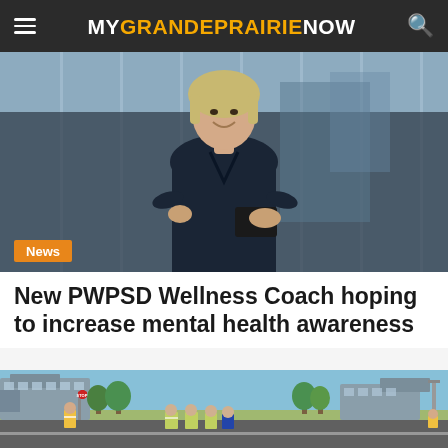MYGRANDEPRAIRIE NOW
[Figure (photo): A smiling young blonde woman in a navy dress holding a black folder, standing in front of large glass windows. An orange 'News' badge is overlaid in the bottom-left corner of the image.]
New PWPSD Wellness Coach hoping to increase mental health awareness
[Figure (photo): A street scene showing a crossing guard in a high-visibility vest holding a stop sign, with police officers in reflective gear crossing the road. Buildings and trees are visible in the background on a sunny day.]